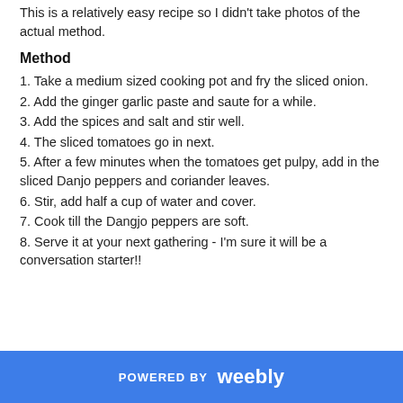This is a relatively easy recipe so I didn't take photos of the actual method.
Method
1. Take a medium sized cooking pot and fry the sliced onion.
2. Add the ginger garlic paste and saute for a while.
3. Add the spices and salt and stir well.
4. The sliced tomatoes go in next.
5. After a few minutes when the tomatoes get pulpy, add in the sliced Danjo peppers and coriander leaves.
6. Stir, add half a cup of water and cover.
7. Cook till the Dangjo peppers are soft.
8. Serve it at your next gathering - I'm sure it will be a conversation starter!!
POWERED BY weebly